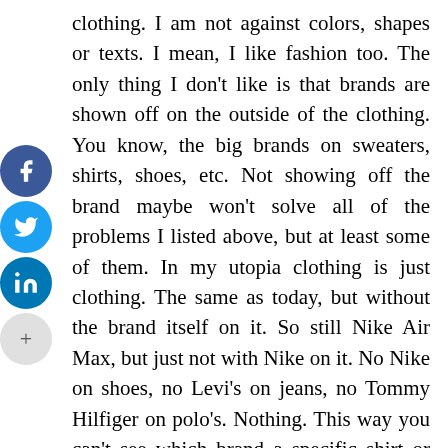clothing. I am not against colors, shapes or texts. I mean, I like fashion too. The only thing I don't like is that brands are shown off on the outside of the clothing. You know, the big brands on sweaters, shirts, shoes, etc. Not showing off the brand maybe won't solve all of the problems I listed above, but at least some of them. In my utopia clothing is just clothing. The same as today, but without the brand itself on it. So still Nike Air Max, but just not with Nike on it. No Nike on shoes, no Levi's on jeans, no Tommy Hilfiger on polo's. Nothing. This way you can't see which brand a specific shirt or hat is from. And then it's not a status item anymore. Because that's what we think brands give us right now, status. And in this